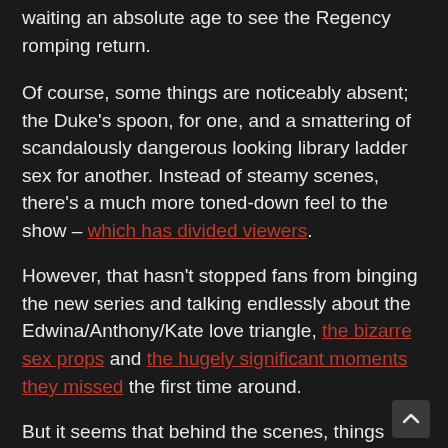waiting an absolute age to see the Regency romping return.
Of course, some things are noticeably absent; the Duke’s spoon, for one, and a smattering of scandalously dangerous looking library ladder sex for another. Instead of steamy scenes, there’s a much more toned-down feel to the show – which has divided viewers.
However, that hasn’t stopped fans from binging the new series and talking endlessly about the Edwina/Anthony/Kate love triangle, the bizarre sex props and the hugely significant moments they missed the first time around.
But it seems that behind the scenes, things didn’t always go so swimmingly – leading cast members to call one epic scene ‘cursed’. Oh dear.
Filming for the second season started during the pandemic,